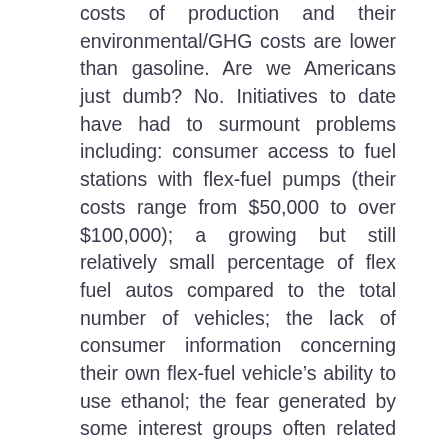costs of production and their environmental/GHG costs are lower than gasoline. Are we Americans just dumb? No. Initiatives to date have had to surmount problems including: consumer access to fuel stations with flex-fuel pumps (their costs range from $50,000 to over $100,000); a growing but still relatively small percentage of flex fuel autos compared to the total number of vehicles; the lack of consumer information concerning their own flex-fuel vehicle's ability to use ethanol; the fear generated by some interest groups often related to the oil industry about the impact of alternative fuels on engines; the seeming ability of the oil industry to manage local prices; and the decisions by supply chain participants, particularly retailers to raise alternative fuel prices to capture immediate profits (reducing their intermediate and long-term ability — as the new kid on the block —